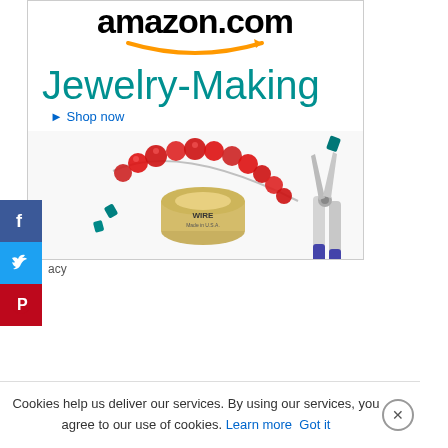[Figure (screenshot): Amazon.com Jewelry-Making advertisement banner with logo, teal 'Jewelry-Making' title text, 'Shop now' link, and product photo showing beaded bracelet, wire spool, and pliers.]
[Figure (infographic): Social media share buttons sidebar: Facebook (blue), Twitter (blue), Pinterest (red)]
acy
Cookies help us deliver our services. By using our services, you agree to our use of cookies. Learn more Got it